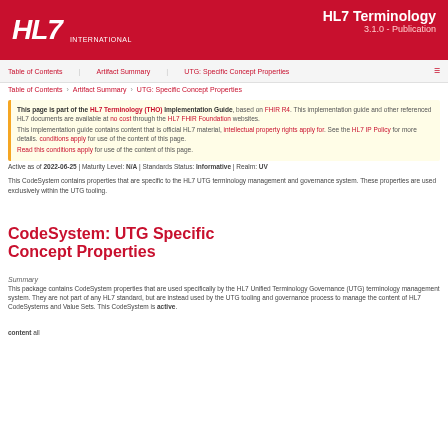HL7 | HL7 Terminology | UTG Specific Concept Properties
This page is part of the HL7 Terminology (THO) Implementation Guide. This implementation guide and other referenced HL7 documents are available. Read this: conditions apply for.
CodeSystem: UTG Specific Concept Properties
Summary
This package contains CodeSystem properties that are used specifically by the HL7 Unified Terminology Governance (UTG) terminology management system. They are not part of any HL7 standard, but are instead used.
content all